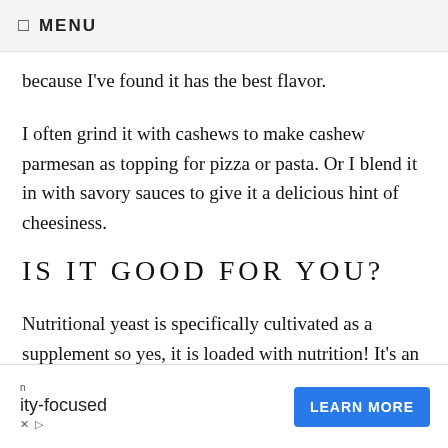☰ MENU
because I've found it has the best flavor.
I often grind it with cashews to make cashew parmesan as topping for pizza or pasta. Or I blend it in with savory sauces to give it a delicious hint of cheesiness.
IS IT GOOD FOR YOU?
Nutritional yeast is specifically cultivated as a supplement so yes, it is loaded with nutrition! It's an excellent source of B-vitamins, folate and protein.
[Figure (other): Advertisement banner with text 'ity-focused' and a 'LEARN MORE' button on blue background, with X and play icons at bottom left.]